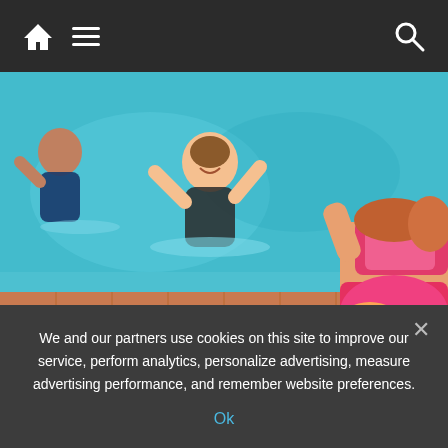Navigation bar with home icon, menu icon, and search icon
[Figure (photo): A fitness instructor in a colorful bikini sits at the pool edge, guiding participants in water aerobics exercise in an indoor swimming pool.]
Health News
A person's breath holds the key to
We and our partners use cookies on this site to improve our service, perform analytics, personalize advertising, measure advertising performance, and remember website preferences.
Ok